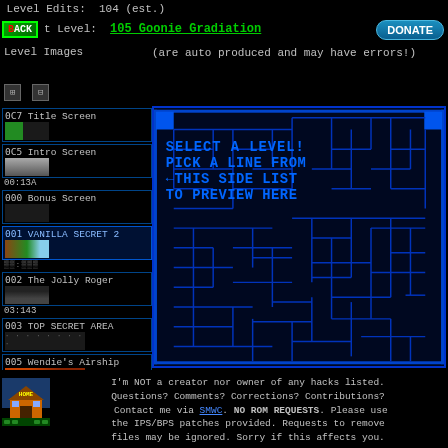Level Edits: 104 (est.)
Next Level: 105 Goonie Gradiation
(are auto produced and may have errors!)
Level Images
0C7 Title Screen
0C5 Intro Screen
00:13A
000 Bonus Screen
001 VANILLA SECRET 2
002 The Jolly Roger
03:143
003 TOP SECRET AREA
005 Wendie's Airship
07:13E
[Figure (screenshot): Game level preview area with blue maze/map grid and text: SELECT A LEVEL! PICK A LINE FROM ← THIS SIDE LIST TO PREVIEW HERE]
I'm NOT a creator nor owner of any hacks listed. Questions? Comments? Corrections? Contributions? Contact me via SMWC. NO ROM REQUESTS. Please use the IPS/BPS patches provided. Requests to remove files may be ignored. Sorry if this affects you.
[Figure (logo): HOME logo icon with house graphic and pixel art base]